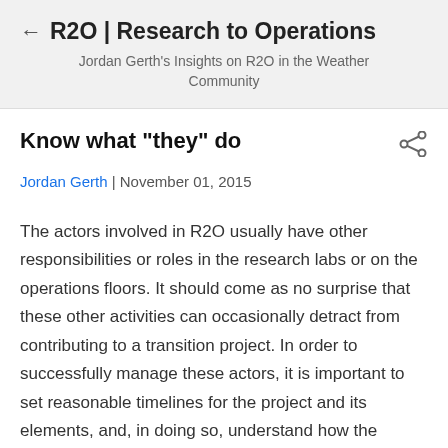R2O | Research to Operations
Jordan Gerth's Insights on R2O in the Weather Community
Know what "they" do
Jordan Gerth | November 01, 2015
The actors involved in R2O usually have other responsibilities or roles in the research labs or on the operations floors. It should come as no surprise that these other activities can occasionally detract from contributing to a transition project. In order to successfully manage these actors, it is important to set reasonable timelines for the project and its elements, and, in doing so, understand how the individuals along the critical path spend their time.